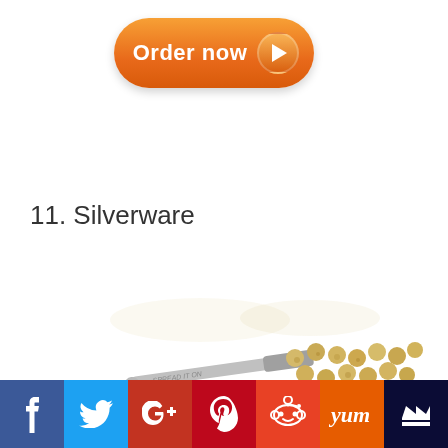[Figure (illustration): Orange 'Order now' button with play arrow icon, rounded pill shape]
11. Silverware
[Figure (photo): Photo of a silver spreader knife and scattered chickpeas/peas on white background]
[Figure (infographic): Social sharing bar with icons: Facebook, Twitter, Google+, Pinterest, Reddit, Yummly, and a crown/bookmark icon]